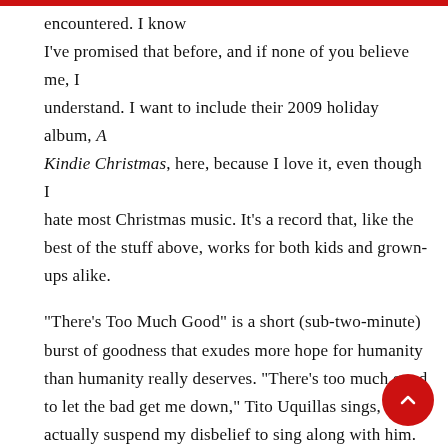encountered. I know I've promised that before, and if none of you believe me, I understand. I want to include their 2009 holiday album, A Kindie Christmas, here, because I love it, even though I hate most Christmas music. It's a record that, like the best of the stuff above, works for both kids and grown-ups alike.
"There's Too Much Good" is a short (sub-two-minute) burst of goodness that exudes more hope for humanity than humanity really deserves. "There's too much good to let the bad get me down," Tito Uquillas sings, and I actually suspend my disbelief to sing along with him. "Santa's Train" is a boom-chicka-boom Johnny Cash-ish country thang that gets ye olde toes tapping. "Goodnight" languidly puts the kids to bed on Christmas